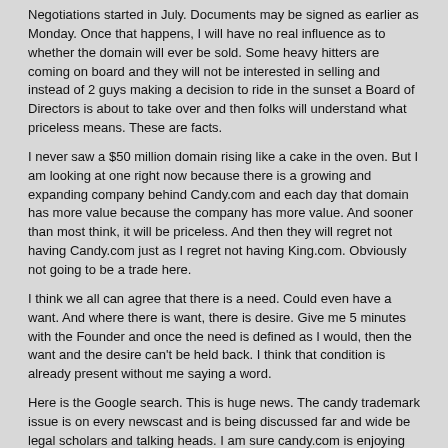Negotiations started in July. Documents may be signed as earlier as Monday. Once that happens, I will have no real influence as to whether the domain will ever be sold. Some heavy hitters are coming on board and they will not be interested in selling and instead of 2 guys making a decision to ride in the sunset a Board of Directors is about to take over and then folks will understand what priceless means. These are facts.
I never saw a $50 million domain rising like a cake in the oven. But I am looking at one right now because there is a growing and expanding company behind Candy.com and each day that domain has more value because the company has more value. And sooner than most think, it will be priceless. And then they will regret not having Candy.com just as I regret not having King.com. Obviously not going to be a trade here.
I think we all can agree that there is a need. Could even have a want. And where there is want, there is desire. Give me 5 minutes with the Founder and once the need is defined as I would, then the want and the desire can't be held back. I think that condition is already present without me saying a word.
Here is the Google search. This is huge news. The candy trademark issue is on every newscast and is being discussed far and wide be legal scholars and talking heads. I am sure candy.com is enjoying the boost in traffic at what is obviously the slow season:
candy trademark
All that said, I think Candy Crush will have many folks filing objections and that of course would probably include Candy.com as I doubt these guys will just sit back and say nothing. And if they can't trademark the word "Candy" then you tell me what then next best thing would be? And if they can trademark candy, how less valuable is that trademark without owning the .com? These are serious and solid business questions and issues and should be viewed as such. Things I have talked about for many years and not there is at least a very live example.
Rick Schwartz
Disclaimer: Candy.com is in no way affilated with Candy Crush, King.com, Saga. However I did see some of their Candy Crush Candy on the candy.com website.